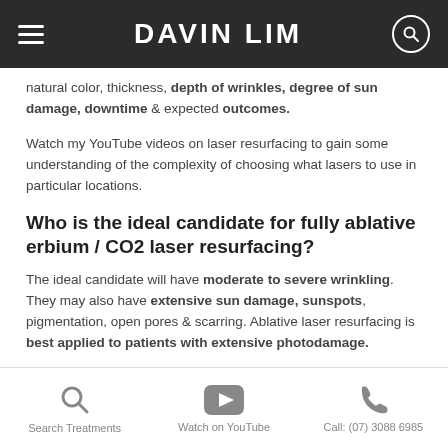DAVIN LIM
natural color, thickness, depth of wrinkles, degree of sun damage, downtime & expected outcomes.
Watch my YouTube videos on laser resurfacing to gain some understanding of the complexity of choosing what lasers to use in particular locations.
Who is the ideal candidate for fully ablative erbium / CO2 laser resurfacing?
The ideal candidate will have moderate to severe wrinkling. They may also have extensive sun damage, sunspots, pigmentation, open pores & scarring. Ablative laser resurfacing is best applied to patients with extensive photodamage.
Search Treatments   Watch on YouTube   Call: (07) 3088 6985